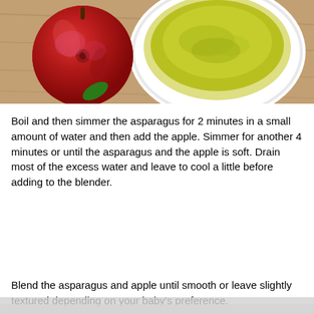[Figure (photo): Top-down view of a red apple next to a white bowl containing green asparagus puree on a wooden surface]
Boil and then simmer the asparagus for 2 minutes in a small amount of water and then add the apple. Simmer for another 4 minutes or until the asparagus and the apple is soft. Drain most of the excess water and leave to cool a little before adding to the blender.
Blend the asparagus and apple until smooth or leave slightly textured depending on your baby's preference.
Asparagus is great for breast feeding mum's milk supply, too, so cook some extra and have some too!
The above ingredients will make 2 pouch servings.
This website uses cookies to ensure you get the best experience on our website... Learn more